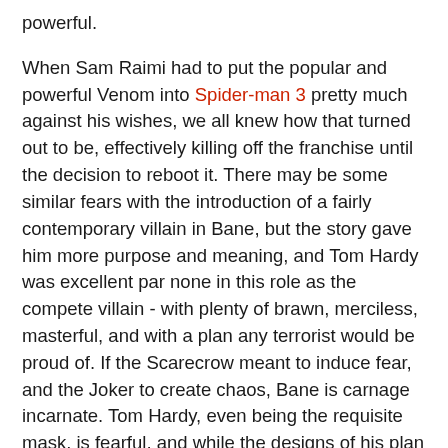powerful.
When Sam Raimi had to put the popular and powerful Venom into Spider-man 3 pretty much against his wishes, we all knew how that turned out to be, effectively killing off the franchise until the decision to reboot it. There may be some similar fears with the introduction of a fairly contemporary villain in Bane, but the story gave him more purpose and meaning, and Tom Hardy was excellent par none in this role as the compete villain - with plenty of brawn, merciless, masterful, and with a plan any terrorist would be proud of. If the Scarecrow meant to induce fear, and the Joker to create chaos, Bane is carnage incarnate. Tom Hardy, even being the requisite mask, is fearful, and while the designs of his plan may dwarf the Joker's in complexity, it sure rivaled his in terms of delivery, and execution. Anyone in his path gets shoved aside with deadly consequences, and anyone alive is only because there is of further use. No hesitation, and no compromise. What more, you'd never see Batman get physically pummeled that severely by an enemy before, until now, with many fisticuffs showing just who is the master of hand to hand combat.